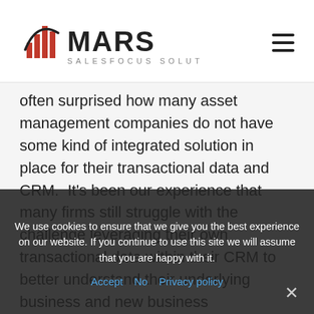MARS SALESFOCUS SOLUTIONS
often surprised how many asset management companies do not have some kind of integrated solution in place for their transactional data and CRM.  It's been our experience that many firms still struggle with the challenge leveraging their own transactional data within their CRM to better understand their underlying business and new business opportunities.  In partnership with Artisan Partners, we took the opportunity to share how Salesfocus Solutions helped Artisan Partners solve this very challenge.
After our presentation in which Artisan Partners
We use cookies to ensure that we give you the best experience on our website. If you continue to use this site we will assume that you are happy with it.
Accept  No  Privacy policy